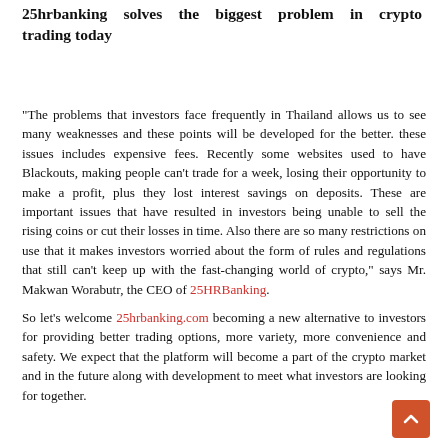25hrbanking solves the biggest problem in crypto trading today
"The problems that investors face frequently in Thailand allows us to see many weaknesses and these points will be developed for the better. these issues includes expensive fees. Recently some websites used to have Blackouts, making people can't trade for a week, losing their opportunity to make a profit, plus they lost interest savings on deposits. These are important issues that have resulted in investors being unable to sell the rising coins or cut their losses in time. Also there are so many restrictions on use that it makes investors worried about the form of rules and regulations that still can't keep up with the fast-changing world of crypto," says Mr. Makwan Worabutr, the CEO of 25HRBanking.
So let's welcome 25hrbanking.com becoming a new alternative to investors for providing better trading options, more variety, more convenience and safety. We expect that the platform will become a part of the crypto market and in the future along with development to meet what investors are looking for together.